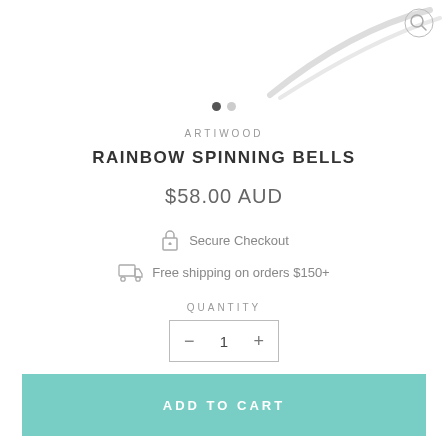[Figure (photo): Product image area showing part of a wooden toy with a white background, with a magnifying glass search icon in the top right corner and two carousel navigation dots below]
ARTIWOOD
RAINBOW SPINNING BELLS
$58.00 AUD
Secure Checkout
Free shipping on orders $150+
QUANTITY
− 1 +
ADD TO CART